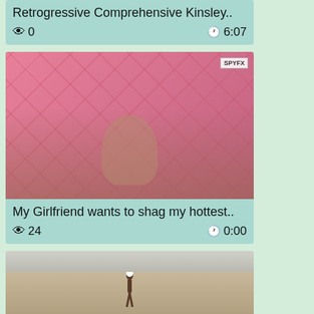Retrogressive Comprehensive Kinsley..
👁 0   🕐 6:07
[Figure (photo): Video thumbnail showing a dark-haired woman in front of a pink quilted headboard with SPYFX watermark]
My Girlfriend wants to shag my hottest..
👁 24   🕐 0:00
[Figure (photo): Video thumbnail showing a beach scene from aerial view with a person on sand near water]